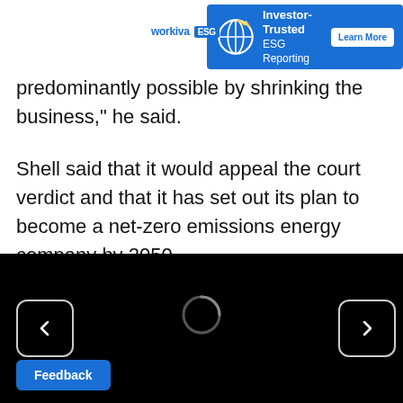[Figure (screenshot): Workiva ESG advertisement banner with globe icon, text 'Investor-Trusted ESG Reporting', and 'Learn More' button on blue background]
predominantly possible by shrinking the business," he said.
Shell said that it would appeal the court verdict and that it has set out its plan to become a net-zero emissions energy company by 2050.
[Figure (screenshot): Black video player area with left/right navigation chevron buttons and a loading spinner circle in the center]
Feedback